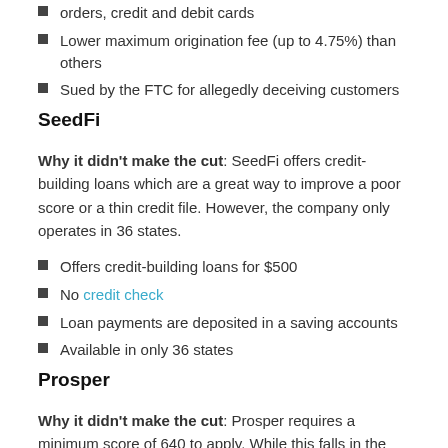orders, credit and debit cards
Lower maximum origination fee (up to 4.75%) than others
Sued by the FTC for allegedly deceiving customers
SeedFi
Why it didn't make the cut: SeedFi offers credit-building loans which are a great way to improve a poor score or a thin credit file. However, the company only operates in 36 states.
Offers credit-building loans for $500
No credit check
Loan payments are deposited in a saving accounts
Available in only 36 states
Prosper
Why it didn't make the cut: Prosper requires a minimum score of 640 to apply. While this falls in the Fair range of the FICO scoring system, it is much higher when compared to other online lenders on our list.